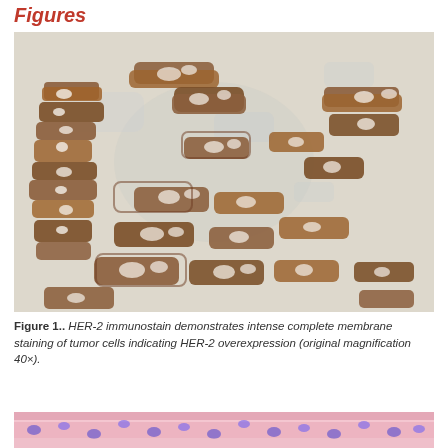Figures
[Figure (photo): HER-2 immunostain microscopy image showing intense complete membrane staining of tumor cells with brown DAB staining on white background, indicating HER-2 overexpression, original magnification 40x.]
Figure 1.. HER-2 immunostain demonstrates intense complete membrane staining of tumor cells indicating HER-2 overexpression (original magnification 40×).
[Figure (photo): Hematoxylin and eosin stained histology section showing tumor cells, pink and purple staining, partial view at bottom of page.]